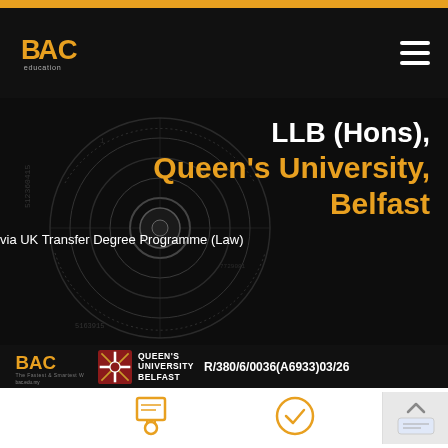[Figure (logo): BAC Education logo in navigation bar]
[Figure (screenshot): Hero banner with dark tech background showing circular data visualization]
LLB (Hons), Queen's University, Belfast
via UK Transfer Degree Programme (Law)
[Figure (logo): BAC Education small logo and Queen's University Belfast logo with registration number R/380/6/0036(A6933)03/26]
[Figure (illustration): Certificate/award icon (gold outline)]
[Figure (illustration): Checkmark circle icon (gold outline)]